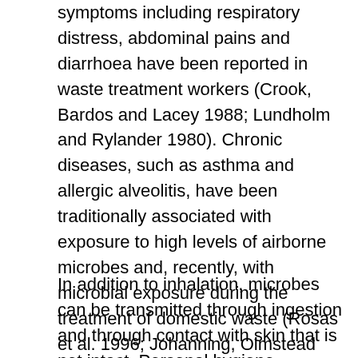symptoms including respiratory distress, abdominal pains and diarrhoea have been reported in waste treatment workers (Crook, Bardos and Lacey 1988; Lundholm and Rylander 1980). Chronic diseases, such as asthma and allergic alveolitis, have been traditionally associated with exposure to high levels of airborne microbes and, recently, with microbial exposure during the treatment of domestic waste (Rosas et al. 1996; Johanning, Olmstead and Yang 1995). Reports of significantly elevated concentrations of fungi and bacteria in waste treatment, sludge dewatering and composting facilities are beginning to be published (Rosas et al. 1996; Bisesi and Kudlinski 1996; Johanning Olmstead and Yang 1995). Another source of airborne microbes is the aeration tanks which are used in many sewage treatment plants.
In addition to inhalation, microbes can be transmitted through ingestion and through contact with skin that is not intact. Personal hygiene, including washing hands before eating, smoking and going to the bathroom, is important. Food, drink,